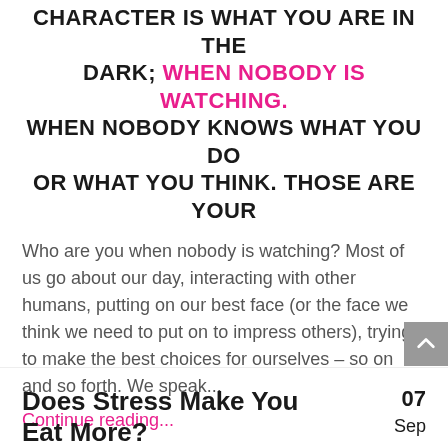CHARACTER IS WHAT YOU ARE IN THE DARK; WHEN NOBODY IS WATCHING. WHEN NOBODY KNOWS WHAT YOU DO OR WHAT YOU THINK. THOSE ARE YOUR
Who are you when nobody is watching? Most of us go about our day, interacting with other humans, putting on our best face (or the face we think we need to put on to impress others), trying to make the best choices for ourselves – so on and so forth. We speak...
Continue reading...
Does Stress Make You Eat More?
07 Sep